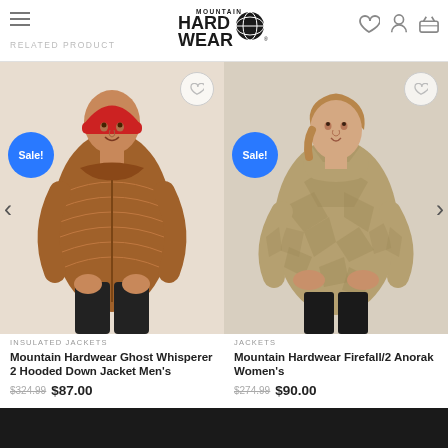Mountain Hardwear — Related Products
[Figure (photo): Man wearing red beanie and brown hooded down jacket (Mountain Hardwear Ghost Whisperer 2 Hooded Down Jacket Men's). Sale badge visible top left. Heart/wishlist icon top right.]
INSULATED JACKETS
Mountain Hardwear Ghost Whisperer 2 Hooded Down Jacket Men's
$324.99  $87.00
[Figure (photo): Woman wearing khaki/tan patterned hooded anorak jacket (Mountain Hardwear Firefall/2 Anorak Women's). Sale badge visible top left. Heart/wishlist icon top right.]
JACKETS
Mountain Hardwear Firefall/2 Anorak Women's
$274.99  $90.00